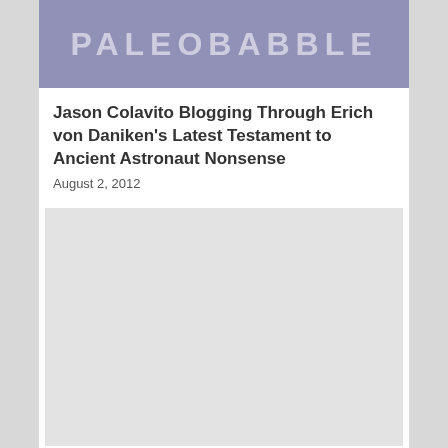[Figure (illustration): Paleobabble blog header banner with purple/lavender background and large white text reading PALEOBABBLE]
Jason Colavito Blogging Through Erich von Daniken’s Latest Testament to Ancient Astronaut Nonsense
August 2, 2012
[Figure (other): Light gray placeholder/image block below the article title and date]